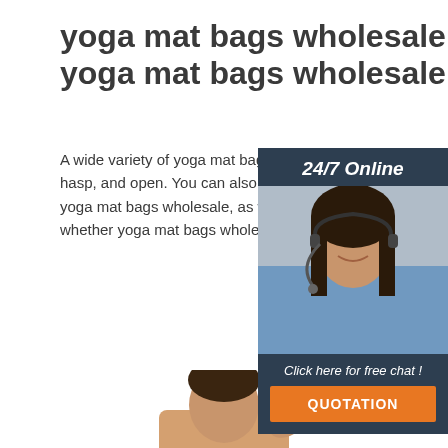yoga mat bags wholesale, yoga mat bags wholesale
A wide variety of yoga mat bags wholesale options are available to you, such as zipper, hasp, and open. You can also choose from medium(30-50cm), large(>50cm), and extra yoga mat bags wholesale, as well as from canvas, and fabric yoga mat bags wholesale, whether yoga mat bags wholesale is hand folding.
[Figure (photo): Customer service woman with headset, 24/7 Online chat widget with orange QUOTATION button]
Get Price
[Figure (other): Yellow Top button in bottom right corner]
[Figure (photo): Person's head visible at bottom center of page]